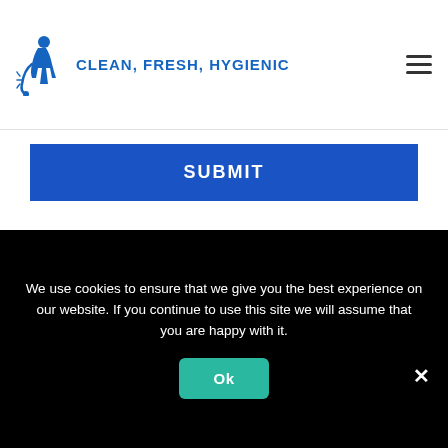CLEAN, FRESH, HYGIENIC
SUBMIT
[Figure (illustration): Dark textured background band]
Address
We use cookies to ensure that we give you the best experience on our website. If you continue to use this site we will assume that you are happy with it.